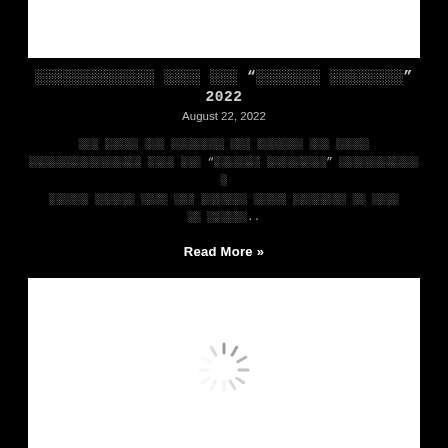[Figure (other): White image/photo block at top of page]
░░░░░░░░░░░░░ ░░░░ ░░░ “░░░░░░░ ░░░░░░░░” 2022
August 22, 2022
░░░ ░░░░░ ░░░ ░░░░░░░░ ░░░ ░░░░░░░ ░░░ ░░░░░ ░░░░░░░░░░░░░░░░░ ░░░░ ░░░ “░░░░░░░ ░░░░░░░░░” ░░░░░░░░░░░░░ ░░░░░░ ░░░░░░ ░░░░ ░░░ ░░░░░░░ ░░░░░ ░░░░░░░░ ░░ ░░░░ ░░ ░░░░░░..
Read More »
[Figure (other): White block with loading spinner in center]